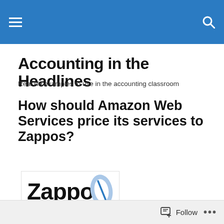Accounting in the Headlines
Accounting in the Headlines
Real life examples to use in the accounting classroom
How should Amazon Web Services price its services to Zappos?
[Figure (logo): Zappos.com logo — black bold text 'Zappos' with a blue '.com' badge and a stylized blue shoe graphic]
Follow